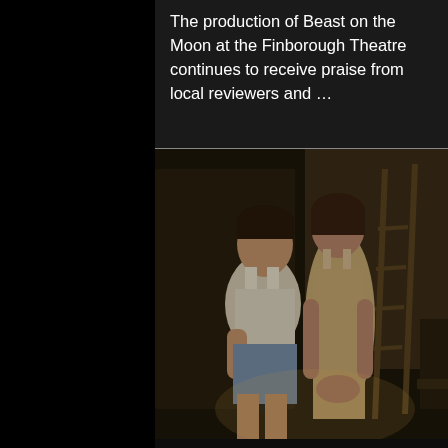The production of Beast on the Moon at the Finborough Theatre continues to receive praise from local reviewers and …
[Figure (photo): Two theatre actors on stage — a man in a white sleeveless vest looking down at a phone, and a woman in a beige slip dress standing beside him with hands clasped, on a dimly lit stage set with a ladder and chair in the background.]
More Reviews In for "Beast On The Moon" in London